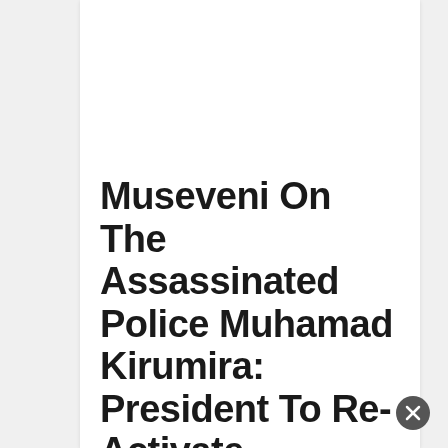Museveni On The Assassinated Police Muhamad Kirumira: President To Re-Activate 'Luweero...